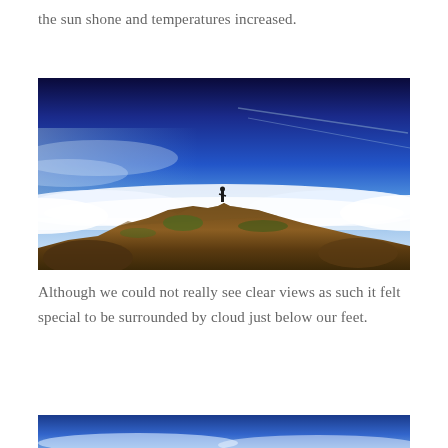the sun shone and temperatures increased.
[Figure (photo): A hiker standing on a rocky mountain summit above a sea of cloud, with vivid blue sky above and white clouds filling the valley below.]
Although we could not really see clear views as such it felt special to be surrounded by cloud just below our feet.
[Figure (photo): Bottom portion of another mountain photo showing blue sky and cloud, partially visible at the bottom of the page.]